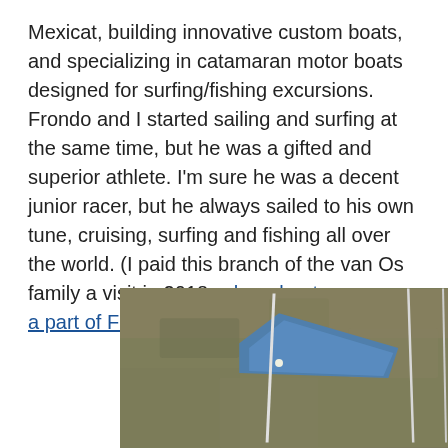Mexicat, building innovative custom boats, and specializing in catamaran motor boats designed for surfing/fishing excursions. Frondo and I started sailing and surfing at the same time, but he was a gifted and superior athlete. I'm sure he was a decent junior racer, but he always sailed to his own tune, cruising, surfing and fishing all over the world. (I paid this branch of the van Os family a visit in 2018, where boats are even a part of Frondo's hillside home.)
[Figure (photo): Aerial photograph showing a hillside landscape with dry scrubby terrain and what appears to be a catamaran boat with white masts visible from above]